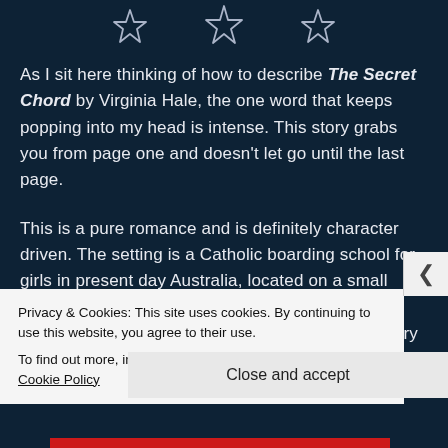[Figure (illustration): Three silver/grey star outlines arranged in a row at the top of the page on dark navy background]
As I sit here thinking of how to describe The Secret Chord by Virginia Hale, the one word that keeps popping into my head is intense. This story grabs you from page one and doesn't let go until the last page.
This is a pure romance and is definitely character driven. The setting is a Catholic boarding school for girls in present day Australia, located on a small island. Kate and Tilly were once students, best friends, and roommates here years before this story
Privacy & Cookies: This site uses cookies. By continuing to use this website, you agree to their use.
To find out more, including how to control cookies, see here: Cookie Policy
Close and accept